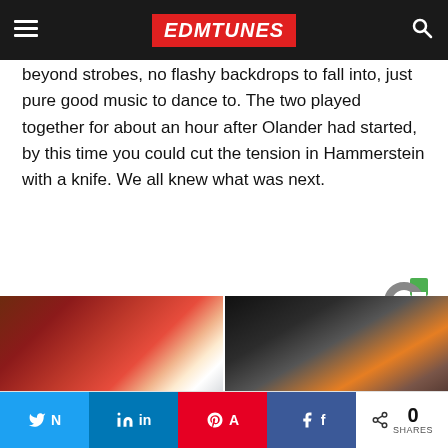EDMTUNES
beyond strobes, no flashy backdrops to fall into, just pure good music to dance to. The two played together for about an hour after Olander had started, by this time you could cut the tension in Hammerstein with a knife. We all knew what was next.
[Figure (photo): Photo of a rambutan fruit being held in a hand, partially opened to show white fruit inside, outdoors with green background]
[Figure (photo): Photo of a woman sitting in a casino with slot machines in the background]
Read the Holy Bible? This
Casinos Don't Want You to
0 SHARES — share buttons: Twitter, LinkedIn, Pinterest, Facebook